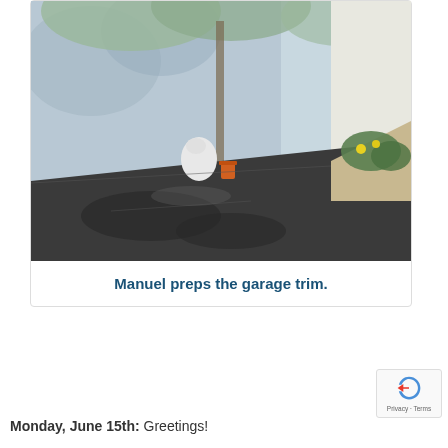[Figure (photo): A person in white clothing crouching and working on the base of a garage wall/trim area. Dark asphalt driveway in foreground, green plants and yellow flowers visible to the right, an orange bucket nearby. Trees casting shadows on the pale blue/grey garage wall.]
Manuel preps the garage trim.
Monday, June 15th: Greetings!